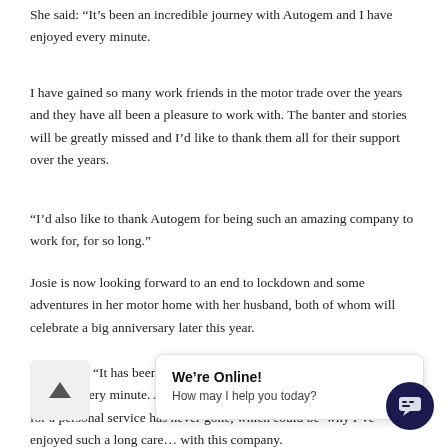She said: “It’s been an incredible journey with Autogem and I have enjoyed every minute.
I have gained so many work friends in the motor trade over the years and they have all been a pleasure to work with. The banter and stories will be greatly missed and I’d like to thank them all for their support over the years.
“I’d also like to thank Autogem for being such an amazing company to work for, for so long.”
Josie is now looking forward to an end to lockdown and some adventures in her motor home with her husband, both of whom will celebrate a big anniversary later this year.
She added: “It has been an incredible journey with Autogem and I have enjoyed every minute. A lot has changed over the years, but that need for a personal service has never gone, which could be why I’ve enjoyed such a long care… with this company.